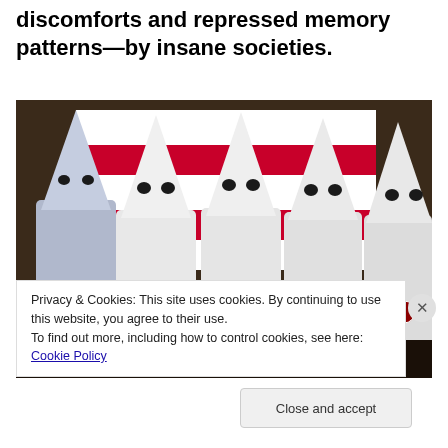discomforts and repressed memory patterns—by insane societies.
[Figure (photo): Group of people wearing white robes and pointed hoods (KKK) standing in front of a red and white striped flag/banner.]
Privacy & Cookies: This site uses cookies. By continuing to use this website, you agree to their use.
To find out more, including how to control cookies, see here: Cookie Policy
Close and accept